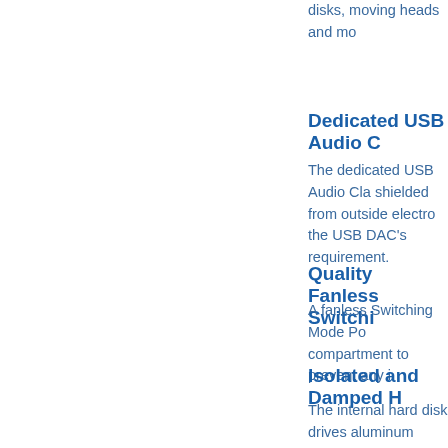disks, moving heads and mo
Dedicated USB Audio C
The dedicated USB Audio Cla shielded from outside electro the USB DAC's requirement.
Quality Fanless Switchi
A fanless Switching Mode Po compartment to prevent any i
Isolated and Damped H
The internal hard disk drives aluminum compartment for co